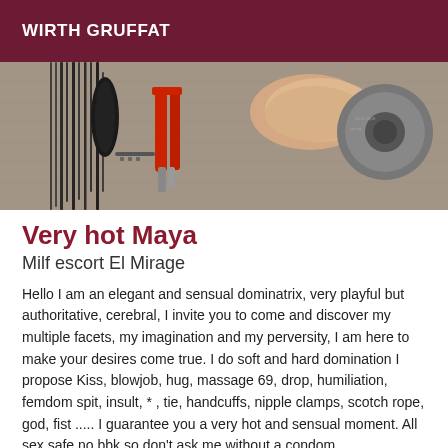WIRTH GRUFFAT
[Figure (photo): Close-up photo of BDSM accessories on a grey fabric surface including a black flogger, red-handled clamps, and a roll of grey duct tape with a hand visible.]
Very hot Maya
Milf escort El Mirage
Hello I am an elegant and sensual dominatrix, very playful but authoritative, cerebral, I invite you to come and discover my multiple facets, my imagination and my perversity, I am here to make your desires come true. I do soft and hard domination I propose Kiss, blowjob, hug, massage 69, drop, humiliation, femdom spit, insult, * , tie, handcuffs, nipple clamps, scotch rope, god, fist ..... I guarantee you a very hot and sensual moment. All sex safe no bbk so don't ask me without a condom. MANDATORY COVER Call private reject directly Welcome my loves